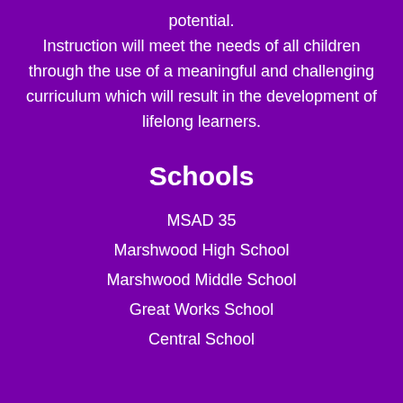potential. Instruction will meet the needs of all children through the use of a meaningful and challenging curriculum which will result in the development of lifelong learners.
Schools
MSAD 35
Marshwood High School
Marshwood Middle School
Great Works School
Central School